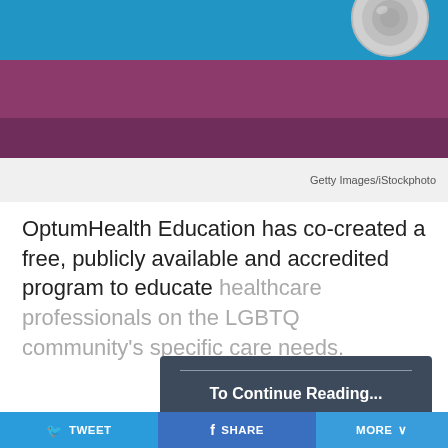[Figure (photo): Stethoscope on a blue and purple/maroon fabric background, representing LGBTQ pride flag colors]
Getty Images/iStockphoto
OptumHealth Education has co-created a free, publicly available and accredited program to educate healthcare professionals on the LGBTQ community's specific care needs.
To Continue Reading...
Continue reading by subscribing
[Figure (other): Social share bar with TWEET, SHARE, and MORE buttons]